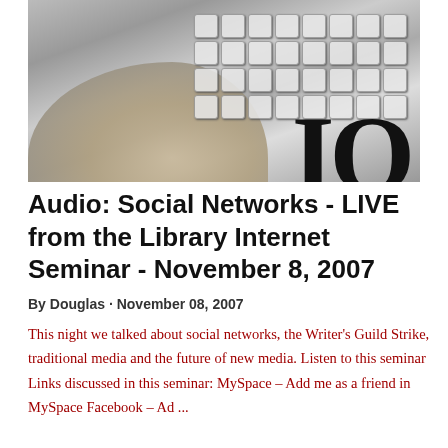[Figure (photo): Black and white photo of a hand on a keyboard with large letters IO partially visible in the lower right corner]
Audio: Social Networks - LIVE from the Library Internet Seminar - November 8, 2007
By Douglas · November 08, 2007
This night we talked about social networks, the Writer's Guild Strike, traditional media and the future of new media. Listen to this seminar Links discussed in this seminar: MySpace – Add me as a friend in MySpace Facebook – Ad...